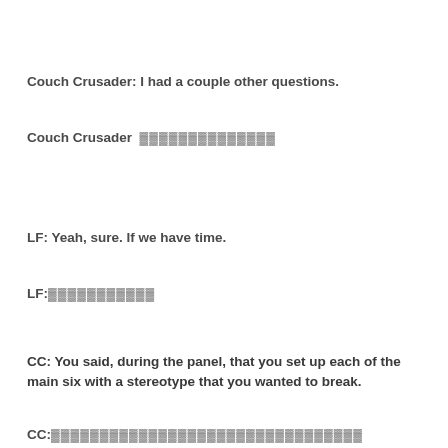Couch Crusader: I had a couple other questions.
Couch Crusader  ▓▓▓▓▓▓▓▓▓▓▓▓▓▓
LF: Yeah, sure. If we have time.
LF:▓▓▓▓▓▓▓▓▓▓▓
CC: You said, during the panel, that you set up each of the main six with a stereotype that you wanted to break.
CC:▓▓▓▓▓▓▓▓▓▓▓▓▓▓▓▓▓▓▓▓▓▓▓▓▓▓▓▓▓▓▓▓